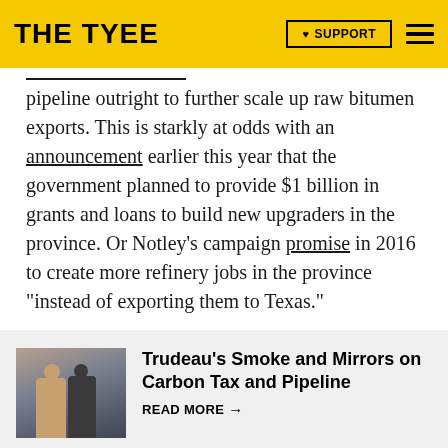THE TYEE | SUPPORT
pipeline outright to further scale up raw bitumen exports. This is starkly at odds with an announcement earlier this year that the government planned to provide $1 billion in grants and loans to build new upgraders in the province. Or Notley’s campaign promise in 2016 to create more refinery jobs in the province “instead of exporting them to Texas.”
[Figure (photo): Two people walking outdoors, one in a tan coat and one in a dark suit, appearing to be politicians or public figures]
Trudeau’s Smoke and Mirrors on Carbon Tax and Pipeline
READ MORE →